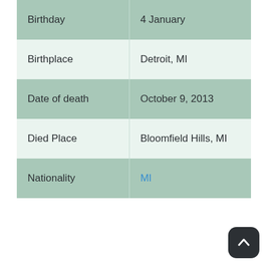| Field | Value |
| --- | --- |
| Birthday | 4 January |
| Birthplace | Detroit, MI |
| Date of death | October 9, 2013 |
| Died Place | Bloomfield Hills, MI |
| Nationality | MI |